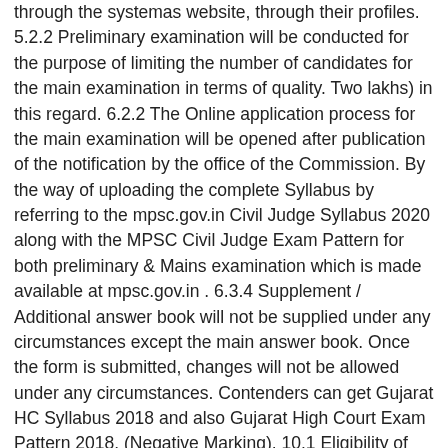through the systemaâ€™s website, through their profiles. 5.2.2 Preliminary examination will be conducted for the purpose of limiting the number of candidates for the main examination in terms of quality. Two lakhs) in this regard. 6.2.2 The Online application process for the main examination will be opened after publication of the notification by the office of the Commission. By the way of uploading the complete Syllabus by referring to the mpsc.gov.in Civil Judge Syllabus 2020 along with the MPSC Civil Judge Exam Pattern for both preliminary & Mains examination which is made available at mpsc.gov.in . 6.3.4 Supplement / Additional answer book will not be supplied under any circumstances except the main answer book. Once the form is submitted, changes will not be allowed under any circumstances. Contenders can get Gujarat HC Syllabus 2018 and also Gujarat High Court Exam Pattern 2018. (Negative Marking). 10.1 Eligibility of candidates eligible for interview on the basis of original documents as per eligibility / terms and conditions in advertisement / notification Candidates who submit original documents and in the application will be examined.